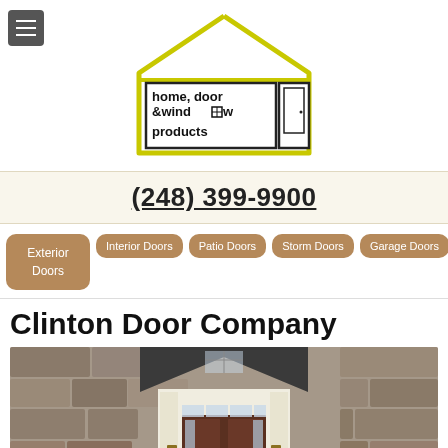[Figure (logo): Home Door & Window Products logo — house outline in yellow/green with a rectangular box inside containing text 'home, door & window products' and a door icon on the right]
(248) 399-9900
Exterior Doors
Interior Doors
Patio Doors
Storm Doors
Garage Doors
Clinton Door Company
[Figure (photo): Exterior photo of a stone house entrance with a dark metal peaked roof overhang, white columns, and a dark wood front door with glass sidelights and transom windows]